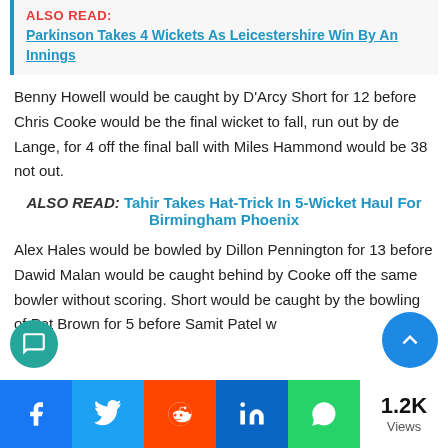ALSO READ: Parkinson Takes 4 Wickets As Leicestershire Win By An Innings
Benny Howell would be caught by D'Arcy Short for 12 before Chris Cooke would be the final wicket to fall, run out by de Lange, for 4 off the final ball with Miles Hammond would be 38 not out.
ALSO READ: Tahir Takes Hat-Trick In 5-Wicket Haul For Birmingham Phoenix
Alex Hales would be bowled by Dillon Pennington for 13 before Dawid Malan would be caught behind by Cooke off the same bowler without scoring. Short would be caught by the bowling of Pat Brown for 5 before Samit Patel would be...
1.2K Views